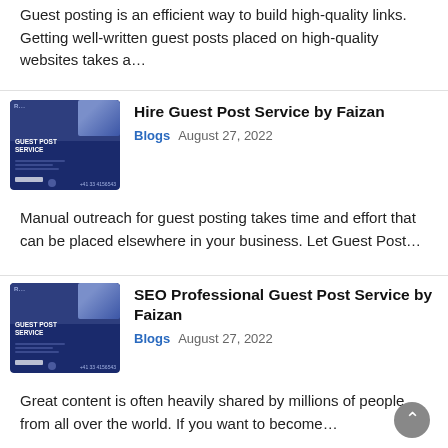Guest posting is an efficient way to build high-quality links. Getting well-written guest posts placed on high-quality websites takes a…
[Figure (screenshot): Blog post card thumbnail showing 'GUEST POST SERVICE' branded image with dark blue background and laptop/person graphic]
Hire Guest Post Service by Faizan
Blogs   August 27, 2022
Manual outreach for guest posting takes time and effort that can be placed elsewhere in your business. Let Guest Post…
[Figure (screenshot): Blog post card thumbnail showing 'GUEST POST SERVICE' branded image with dark blue background and laptop/person graphic]
SEO Professional Guest Post Service by Faizan
Blogs   August 27, 2022
Great content is often heavily shared by millions of people from all over the world. If you want to become…